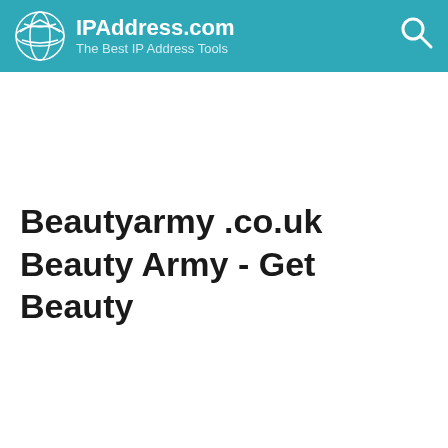IPAddress.com — The Best IP Address Tools
Beautyarmy .co.uk Beauty Army - Get Beauty